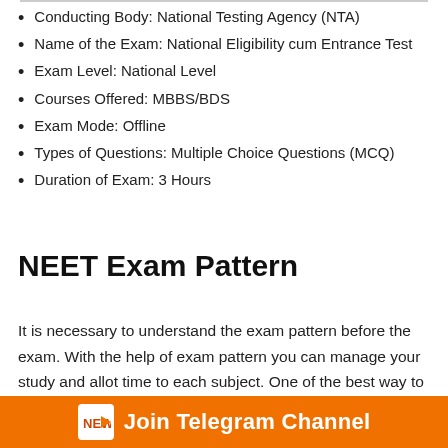Conducting Body: National Testing Agency (NTA)
Name of the Exam: National Eligibility cum Entrance Test
Exam Level: National Level
Courses Offered: MBBS/BDS
Exam Mode: Offline
Types of Questions: Multiple Choice Questions (MCQ)
Duration of Exam: 3 Hours
NEET Exam Pattern
It is necessary to understand the exam pattern before the exam. With the help of exam pattern you can manage your study and allot time to each subject. One of the best way to understand exam pattern is solving the previous year papers. You can download NEET Previous Year Question papers form
Join Telegram Channel